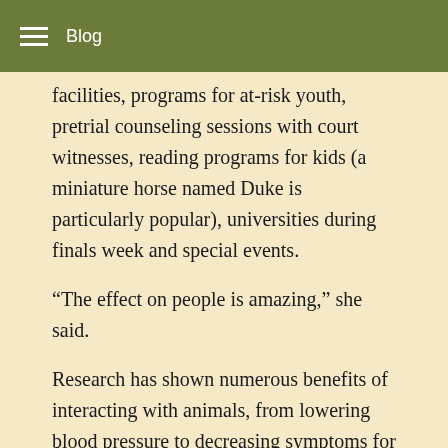Blog
facilities, programs for at-risk youth, pretrial counseling sessions with court witnesses, reading programs for kids (a miniature horse named Duke is particularly popular), universities during finals week and special events.
“The effect on people is amazing,” she said.
Research has shown numerous benefits of interacting with animals, from lowering blood pressure to decreasing symptoms for veterans with PTSD and boosting sociability in children with autism.
“Oxytocin, which is the hormone that’s released in women when they bond with their babies, is actually